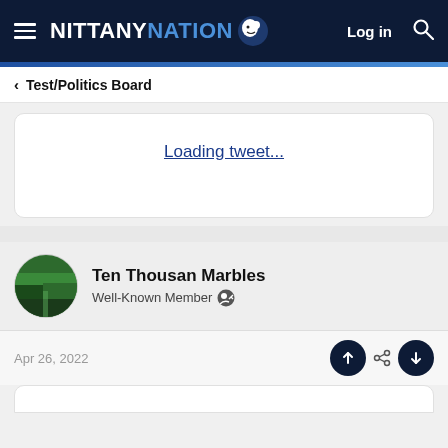NITTANY NATION — Log in
< Test/Politics Board
Loading tweet...
Ten Thousan Marbles
Well-Known Member
Apr 26, 2022